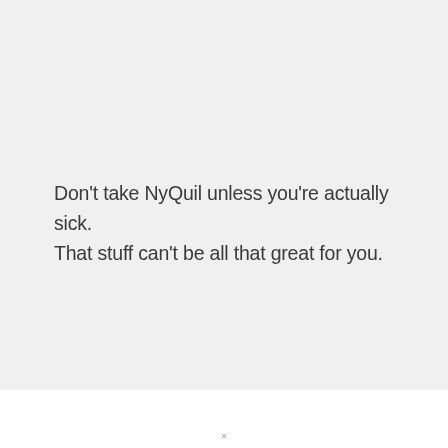Don't take NyQuil unless you're actually sick. That stuff can't be all that great for you.
×